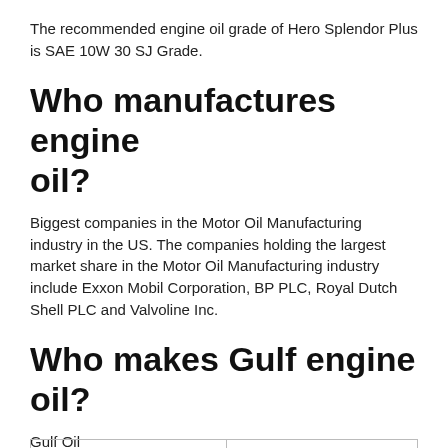The recommended engine oil grade of Hero Splendor Plus is SAE 10W 30 SJ Grade.
Who manufactures engine oil?
Biggest companies in the Motor Oil Manufacturing industry in the US. The companies holding the largest market share in the Motor Oil Manufacturing industry include Exxon Mobil Corporation, BP PLC, Royal Dutch Shell PLC and Valvoline Inc.
Who makes Gulf engine oil?
Gulf Oil